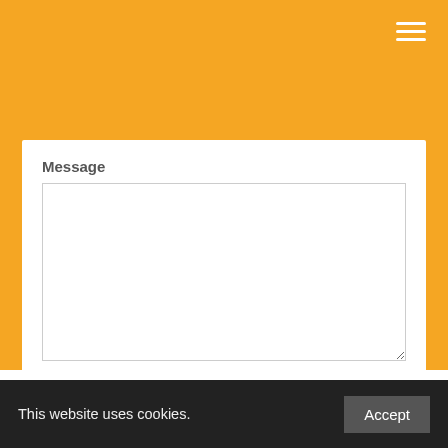[Figure (screenshot): Orange header background with hamburger menu icon in top right corner]
Message
In compliance with Canadian Spam Laws, I understand that by clicking submit, you give us permission to send you information on products and services by email to the email address provided. *
I Agree
Submit
This website uses cookies.  Accept